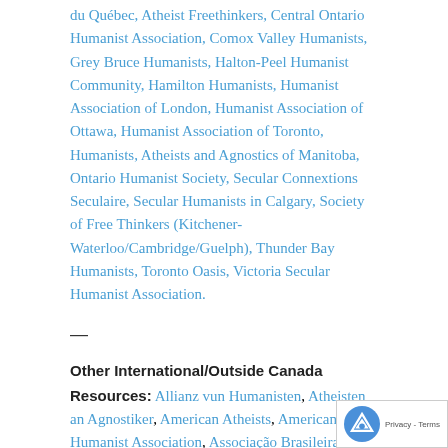du Québec, Atheist Freethinkers, Central Ontario Humanist Association, Comox Valley Humanists, Grey Bruce Humanists, Halton-Peel Humanist Community, Hamilton Humanists, Humanist Association of London, Humanist Association of Ottawa, Humanist Association of Toronto, Humanists, Atheists and Agnostics of Manitoba, Ontario Humanist Society, Secular Connextions Seculaire, Secular Humanists in Calgary, Society of Free Thinkers (Kitchener-Waterloo/Cambridge/Guelph), Thunder Bay Humanists, Toronto Oasis, Victoria Secular Humanist Association.
—
Other International/Outside Canada Resources: Allianz vun Humanisten, Atheisten an Agnostiker, American Atheists, American Humanist Association, Associação Brasileira de Ateus e Agnósticosééébrazilian Association of Atheists and Agnostics, Atheist Alliance